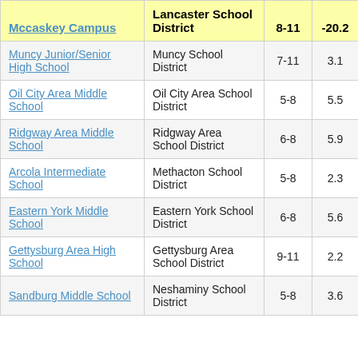| Mccaskey Campus | Lancaster School District | 8-11 | -20.2 |
| --- | --- | --- | --- |
| Muncy Junior/Senior High School | Muncy School District | 7-11 | 3.1 |
| Oil City Area Middle School | Oil City Area School District | 5-8 | 5.5 |
| Ridgway Area Middle School | Ridgway Area School District | 6-8 | 5.9 |
| Arcola Intermediate School | Methacton School District | 5-8 | 2.3 |
| Eastern York Middle School | Eastern York School District | 6-8 | 5.6 |
| Gettysburg Area High School | Gettysburg Area School District | 9-11 | 2.2 |
| Sandburg Middle School | Neshaminy School District | 5-8 | 3.6 |